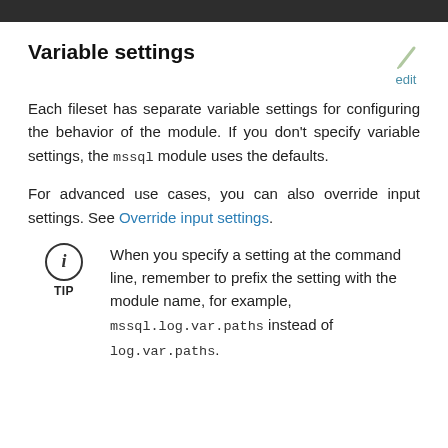Variable settings
Each fileset has separate variable settings for configuring the behavior of the module. If you don't specify variable settings, the mssql module uses the defaults.
For advanced use cases, you can also override input settings. See Override input settings.
TIP: When you specify a setting at the command line, remember to prefix the setting with the module name, for example, mssql.log.var.paths instead of log.var.paths.